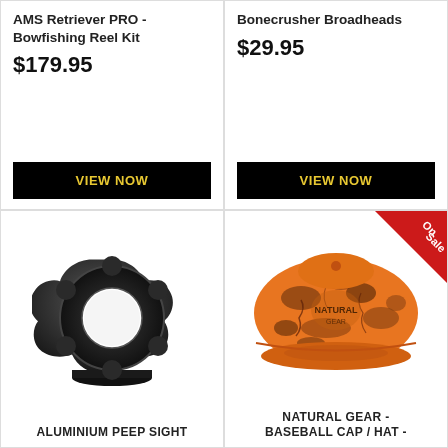AMS Retriever PRO - Bowfishing Reel Kit
$179.95
VIEW NOW
Bonecrusher Broadheads
$29.95
VIEW NOW
[Figure (photo): Aluminium peep sight - black circular archery peep sight with scalloped outer edge and round center hole]
ALUMINIUM PEEP SIGHT
[Figure (photo): Orange camouflage baseball cap with logo, 'On Sale' red banner in top right corner]
NATURAL GEAR - BASEBALL CAP / HAT -